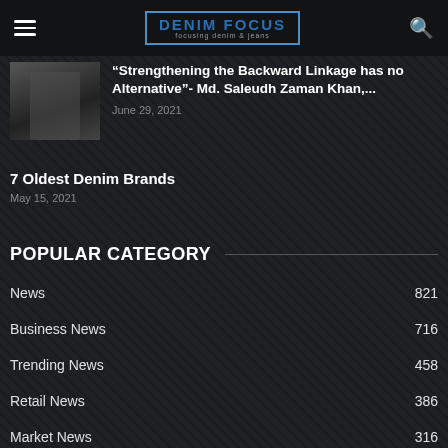DENIM FOCUS - focusing denim & jeans
“Strengthening the Backward Linkage has no Alternative”- Md. Saleudh Zaman Khan,...
June 29, 2021
7 Oldest Denim Brands
May 15, 2021
POPULAR CATEGORY
News 821
Business News 716
Trending News 458
Retail News 386
Market News 316